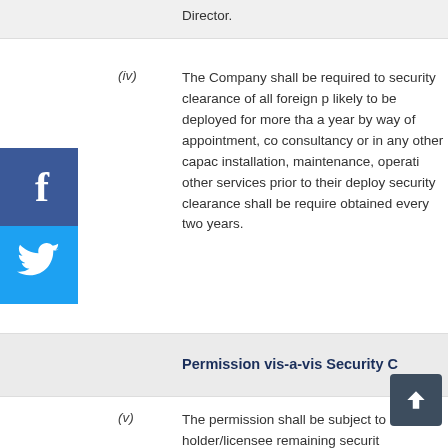(iv) The Company shall be required to security clearance of all foreign p likely to be deployed for more tha a year by way of appointment, co consultancy or in any other capac installation, maintenance, operati other services prior to their deploy security clearance shall be require obtained every two years.
Permission vis-a-vis Security C
(v) The permission shall be subject to holder/licensee remaining securit throughout the currency erm the security clearance is withdraw